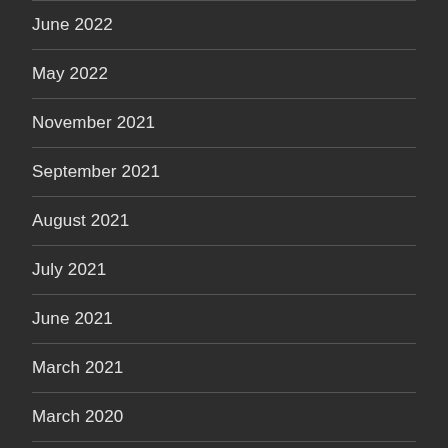June 2022
May 2022
November 2021
September 2021
August 2021
July 2021
June 2021
March 2021
March 2020
February 2020
January 2020